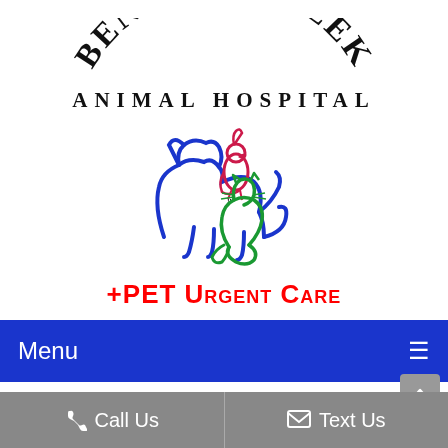[Figure (logo): Bennett Creek Animal Hospital + Pet Urgent Care logo with arched text and illustrated dog, cat, and bird in blue, pink/red, and green colors]
Menu
Call Us
Text Us